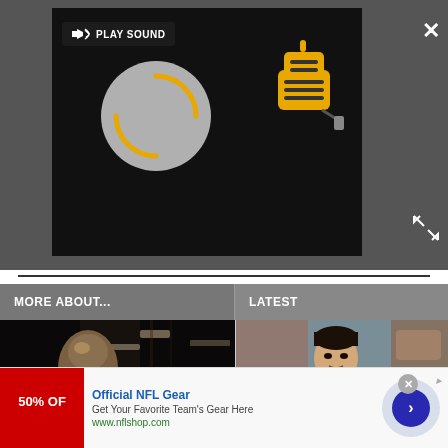[Figure (screenshot): Video player with dark background showing a spinning loader circle and a yellow robot/blender character icon. 'PLAY SOUND' button with speaker icon in top-left of player. Close X button top-right. Expand arrows bottom-right.]
MORE ABOUT...
LATEST
[Figure (photo): Movie still showing Star Wars armored character (Captain Phasma) in silver/gold armor holding a weapon, dark sci-fi setting]
Star Wars Alum
[Figure (photo): TV still showing John Stamos in a white shirt sitting in a casual setting]
John Stamos Calls
[Figure (screenshot): Advertisement banner: Official NFL Gear - Get Your Favorite Team's Gear Here - www.nflshop.com - showing 50% OFF red badge and navigation arrow]